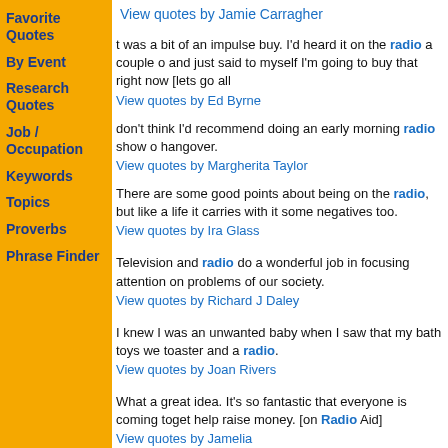Favorite Quotes
By Event
Research Quotes
Job / Occupation
Keywords
Topics
Proverbs
Phrase Finder
View quotes by Jamie Carragher
t was a bit of an impulse buy. I'd heard it on the radio a couple of and just said to myself I'm going to buy that right now [lets go all
View quotes by Ed Byrne
don't think I'd recommend doing an early morning radio show on a hangover.
View quotes by Margherita Taylor
There are some good points about being on the radio, but like all life it carries with it some negatives too.
View quotes by Ira Glass
Television and radio do a wonderful job in focusing attention on problems of our society.
View quotes by Richard J Daley
I knew I was an unwanted baby when I saw that my bath toys were a toaster and a radio.
View quotes by Joan Rivers
What a great idea. It's so fantastic that everyone is coming together to help raise money. [on Radio Aid]
View quotes by Jamelia